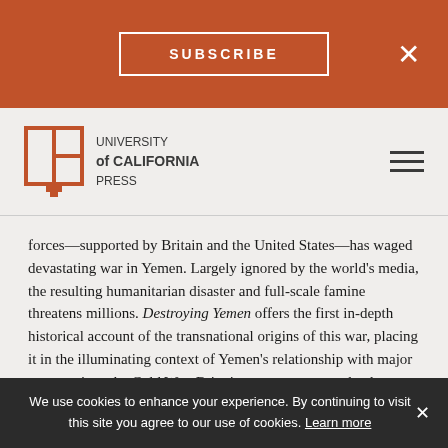SUBSCRIBE
[Figure (logo): University of California Press logo with book icon]
forces—supported by Britain and the United States—has waged devastating war in Yemen. Largely ignored by the world's media, the resulting humanitarian disaster and full-scale famine threatens millions. Destroying Yemen offers the first in-depth historical account of the transnational origins of this war, placing it in the illuminating context of Yemen's relationship with major powers since the Cold War. Bringing new sources and a deep understanding to bear on Yemen's profound, unwitting implication in international affairs, this explosive book ultimately tells an even larger story of today's political economy of global capitalism, development, and the war on terror as disparate actors interacting in...
We use cookies to enhance your experience. By continuing to visit this site you agree to our use of cookies. Learn more